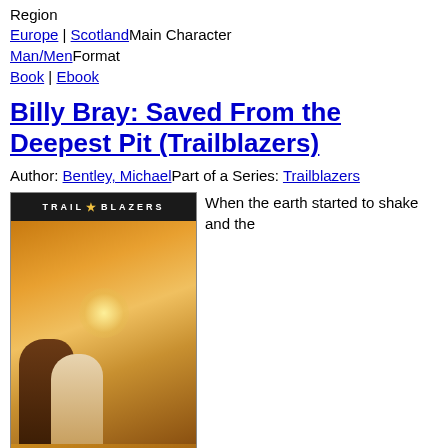Region
Europe | ScotlandMain Character
Man/MenFormat
Book | Ebook
Billy Bray: Saved From the Deepest Pit (Trailblazers)
Author: Bentley, MichaelPart of a Series: Trailblazers
[Figure (photo): Book cover of 'Billy Bray: Saved From the Deepest Pit' from the Trailblazers series by Michael Bentley. The cover shows two figures in a cave-like setting with glowing background. Black band at top reads TRAILBLAZERS. Black box shows title text.]
When the earth started to shake and the